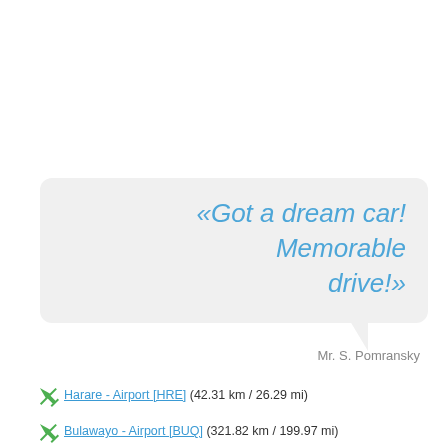«Got a dream car! Memorable drive!»
Mr. S. Pomransky
Harare - Airport [HRE] (42.31 km / 26.29 mi)
Bulawayo - Airport [BUQ] (321.82 km / 199.97 mi)
Harare (40.42 km / 25.12 mi)